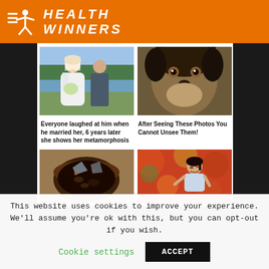HEALTH WINNERS
[Figure (photo): Wedding couple photo - overweight bride in white dress with flowers, groom in military uniform, lake in background]
[Figure (photo): Close-up portrait of a dark-colored dog with alert eyes]
Everyone laughed at him when he married her, 6 years later she shows her metamorphosis
After Seeing These Photos You Cannot Unsee Them!
[Figure (photo): Dark beverage in a glass with ice, appears to show insects or debris]
[Figure (photo): Young Asian woman runner in athletic wear outdoors with fall foliage]
This website uses cookies to improve your experience. We'll assume you're ok with this, but you can opt-out if you wish.
Cookie settings
ACCEPT